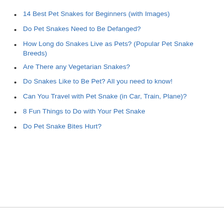14 Best Pet Snakes for Beginners (with Images)
Do Pet Snakes Need to Be Defanged?
How Long do Snakes Live as Pets? (Popular Pet Snake Breeds)
Are There any Vegetarian Snakes?
Do Snakes Like to Be Pet? All you need to know!
Can You Travel with Pet Snake (in Car, Train, Plane)?
8 Fun Things to Do with Your Pet Snake
Do Pet Snake Bites Hurt?